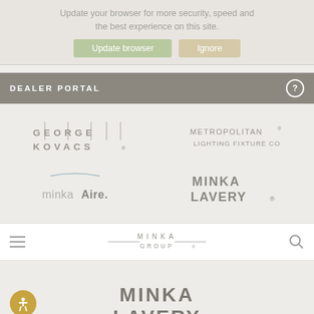Update your browser for more security, speed and the best experience on this site.
Update browser | Ignore
DEALER PORTAL
[Figure (logo): George Kovacs logo]
[Figure (logo): Metropolitan Lighting Fixture Co logo]
[Figure (logo): minkaAire. logo]
[Figure (logo): Minka Lavery logo]
[Figure (logo): MINKA GROUP navigation bar logo]
[Figure (logo): MINKA LAVERY logo partial at bottom]